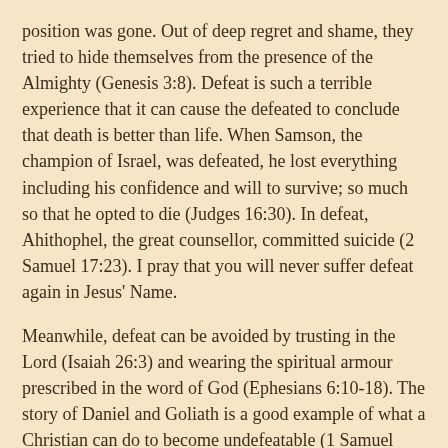position was gone. Out of deep regret and shame, they tried to hide themselves from the presence of the Almighty (Genesis 3:8). Defeat is such a terrible experience that it can cause the defeated to conclude that death is better than life. When Samson, the champion of Israel, was defeated, he lost everything including his confidence and will to survive; so much so that he opted to die (Judges 16:30). In defeat, Ahithophel, the great counsellor, committed suicide (2 Samuel 17:23). I pray that you will never suffer defeat again in Jesus' Name.
Meanwhile, defeat can be avoided by trusting in the Lord (Isaiah 26:3) and wearing the spiritual armour prescribed in the word of God (Ephesians 6:10-18). The story of Daniel and Goliath is a good example of what a Christian can do to become undefeatable (1 Samuel 17). David took a casual walk into the camp of the Israelites to deliver some bread and cheese to his brothers and the captain of their unit. He was not a trained warrior, neither was he in anyway prepared for the battle ahead. He only happened to hear the boastings of Goliath and was challenged by his offensive statements against the Lord. David's state of mind as he approached the